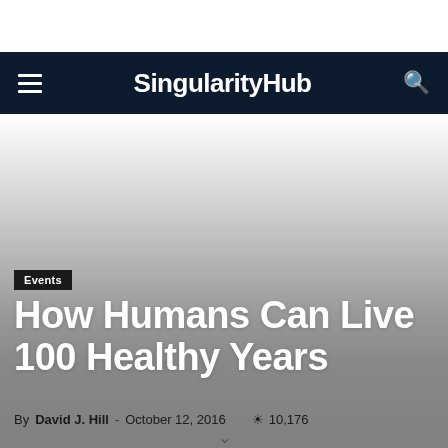SingularityHub
[Figure (photo): Hero image background with gradient from white to gray]
Events
How Humans Can Live 100 Healthy Years
By David J. Hill - October 12, 2016   10,176